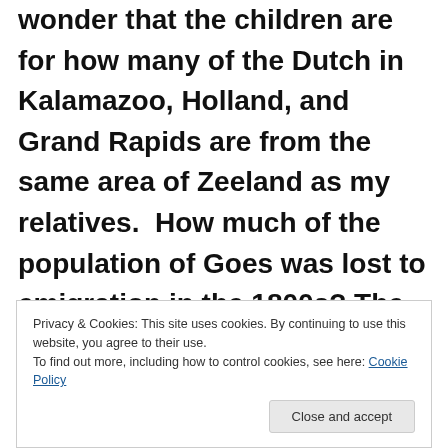wonder that many of the Dutch in Kalamazoo, Holland, and Grand Rapids are from the same area of Zeeland as my relatives.  How much of the population of Goes was lost to emigration in the 1800s? The rest of Zeeland? And what does “amelioration of
Privacy & Cookies: This site uses cookies. By continuing to use this website, you agree to their use.
To find out more, including how to control cookies, see here: Cookie Policy
Close and accept